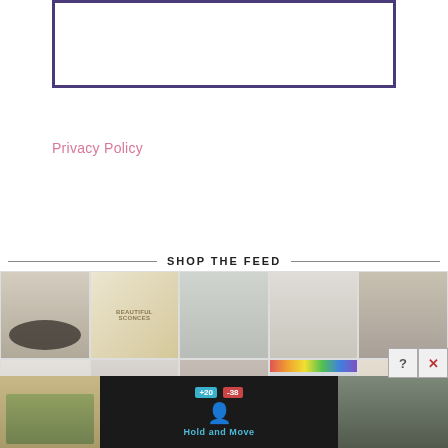[Figure (other): Advertisement placeholder box with dark purple border, white interior]
Privacy Policy
SHOP THE FEED
[Figure (photo): Grid of interior design / home decor photos in two rows: dining room, lighting collage, living room, kitchen, bookshelf, and partial second row with more home photos. Overlaid at bottom is a mobile game advertisement showing score overlay (+20, -38), a figure icon, Hold and Move text, and a nature/trees photo panel with close (X) and help (?) buttons.]